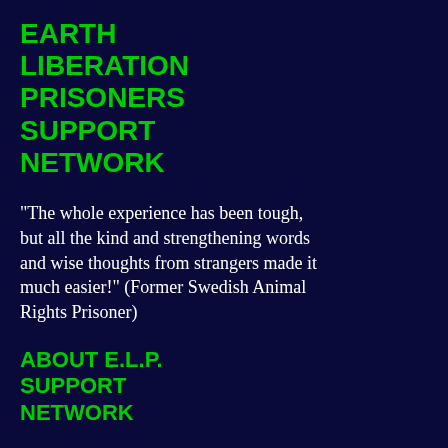EARTH LIBERATION PRISONERS SUPPORT NETWORK
"The whole experience has been tough, but all the kind and strengthening words and wise thoughts from strangers made it much easier!" (Former Swedish Animal Rights Prisoner)
ABOUT E.L.P. SUPPORT NETWORK